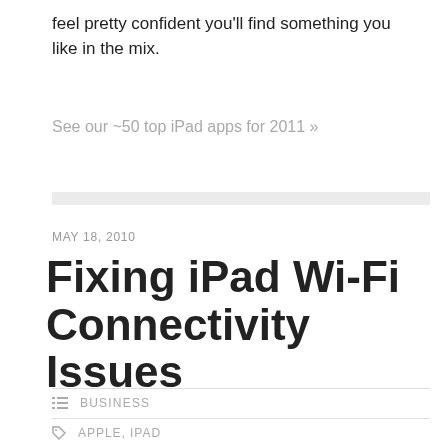feel pretty confident you'll find something you like in the mix.
See our ~50 top iPad apps for 2011 »
MAY 18, 2010
Fixing iPad Wi-Fi Connectivity Issues
BUSINESS
APPLE, IPAD